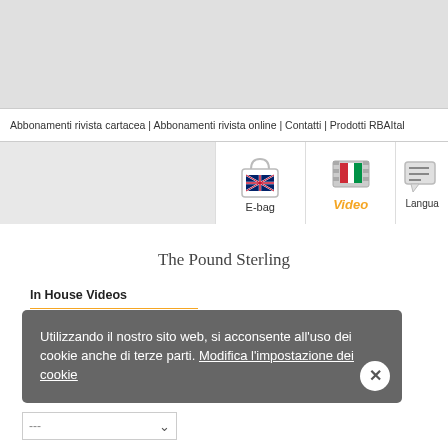[Figure (screenshot): Top gray header area of a website]
Abbonamenti rivista cartacea | Abbonamenti rivista online | Contatti | Prodotti RBAItalia
[Figure (screenshot): Icon bar with E-bag (shopping bag with UK flag), Video (film strip, orange label), and Language icons]
The Pound Sterling
In House Videos
Movie Trailers
Selected For You
Utilizzando il nostro sito web, si acconsente all'uso dei cookie anche di terze parti. Modifica l'impostazione dei cookie